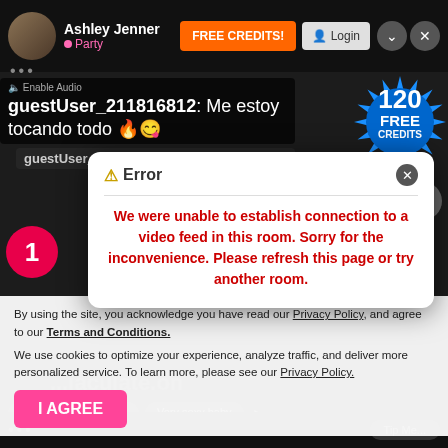Ashley Jenner • Party | FREE CREDITS! | Login
guestUser_211816812: Me estoy tocando todo 🔥😋
guestUser_086358380: aaahhhhhh
[Figure (other): 120 FREE CREDITS starburst badge in blue and white]
⚠ Error
We were unable to establish connection to a video feed in this room. Sorry for the inconvenience. Please refresh this page or try another room.
By using the site, you acknowledge you have read our Privacy Policy, and agree to our Terms and Conditions.
We use cookies to optimize your experience, analyze traffic, and deliver more personalized service. To learn more, please see our Privacy Policy.
I AGREE